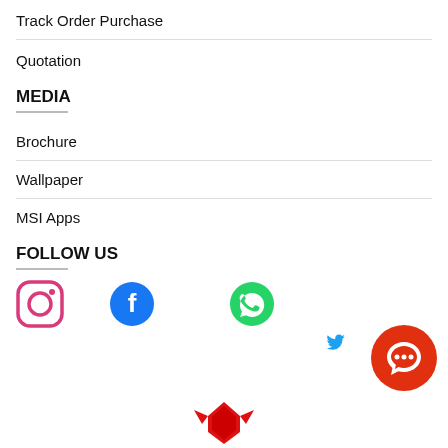Track Order Purchase
Quotation
MEDIA
Brochure
Wallpaper
MSI Apps
FOLLOW US
[Figure (illustration): Social media icons row: Instagram (pink/red), Facebook (blue), WhatsApp (green), Twitter (blue)]
[Figure (illustration): Orange chat button circle with speech bubble icon, bottom right]
[Figure (logo): MSI red logo mark, partially visible at bottom center]